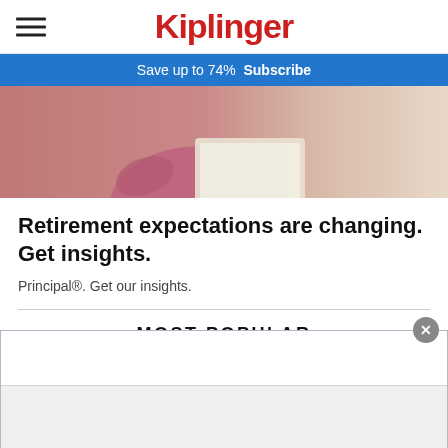Kiplinger
Save up to 74%  Subscribe
[Figure (photo): Person in pink shirt working on a laptop computer]
Retirement expectations are changing. Get insights.
Principal®. Get our insights.
MOST POPULAR
[Figure (other): Bottom overlay advertisement panel with close button (X), white area at top and gray area at bottom]